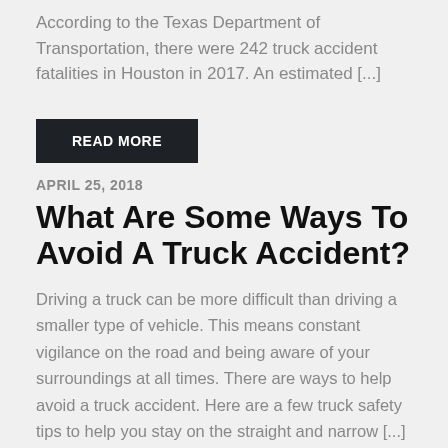According to the Texas Department of Transportation, there were 242 truck accident fatalities in Houston in 2017. An estimated [...]
READ MORE
APRIL 25, 2018
What Are Some Ways To Avoid A Truck Accident?
Driving a truck can be more difficult than driving a smaller type of vehicle. This means constant vigilance on the road and being aware of your surroundings at all times. There are ways to help avoid a truck accident. Here are a few truck safety tips to help you stay on the straight and narrow [...]
READ MORE